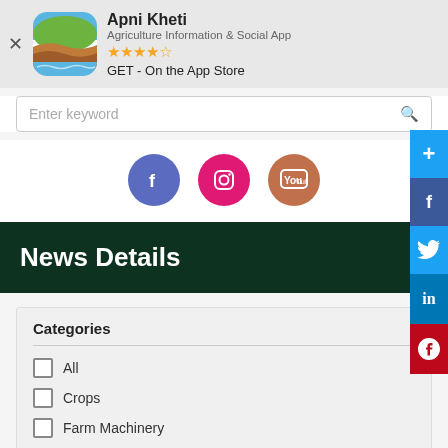[Figure (screenshot): Apni Kheti app banner with logo, name, subtitle, star rating, and GET button]
Enter keyword
[Figure (illustration): Social media icons: Facebook, Instagram, YouTube]
News Details
[Figure (illustration): Side social share bar with +, Facebook, Twitter, LinkedIn, Pinterest icons]
Categories
All
Crops
Farm Machinery